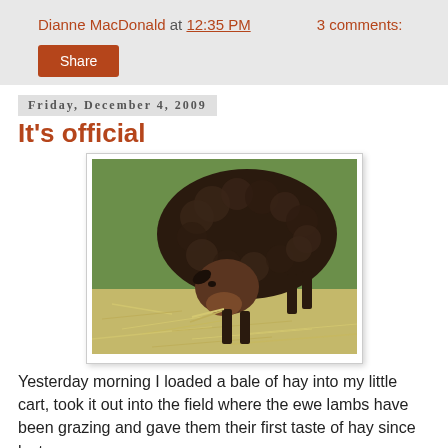Dianne MacDonald at 12:35 PM   3 comments:
Share
Friday, December 4, 2009
It's official
[Figure (photo): A dark brown woolly sheep grazing with its head down in a field, eating hay on green grass.]
Yesterday morning I loaded a bale of hay into my little cart, took it out into the field where the ewe lambs have been grazing and gave them their first taste of hay since last